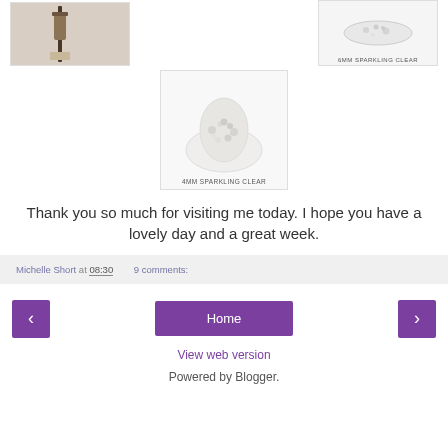[Figure (photo): Product image partially visible on left, cropped at top]
[Figure (photo): 6MM SPARKLING CLEAR product image with label]
[Figure (photo): 4MM SPARKLING CLEAR product image with spoon and crystals]
Thank you so much for visiting me today. I hope you have a lovely day and a great week.
Michelle Short at 08:30   9 comments:
Home
View web version
Powered by Blogger.